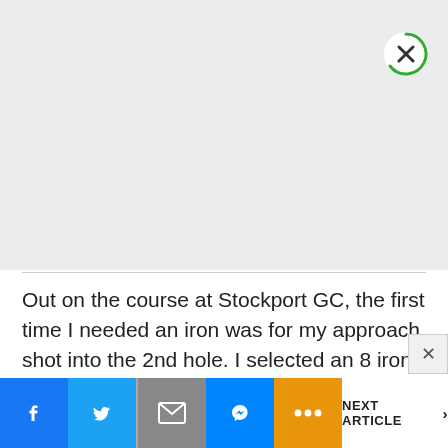[Figure (other): Gray advertisement banner area with a green-outlined circle close button (X) in the top-right corner]
Out on the course at Stockport GC, the first time I needed an iron was for my approach shot into the 2nd hole. I selected an 8 iron as it was into the wind and slightly uphill, but I failed to hit it 120 yards in the cold drizzle. This was frustrating, but in reality my swing is as slow as it has ever been and these clubs just reflected that.
[Figure (infographic): Social sharing bottom bar with Facebook, Twitter, Mail, Messenger, and More buttons, plus a NEXT ARTICLE link]